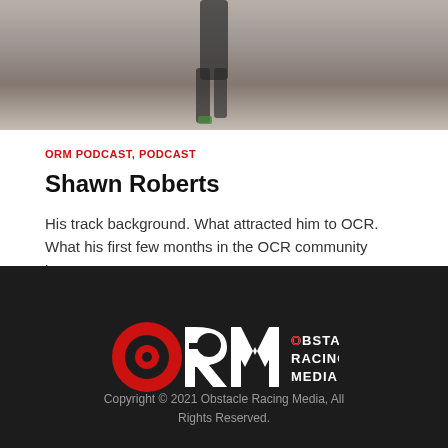[Figure (photo): Partial photo of a person running or walking, showing lower torso and legs in athletic wear, against a muted outdoor background]
ORM PODCAST, PODCAST
Shawn Roberts
His track background. What attracted him to OCR. What his first few months in the OCR community have...
[Figure (logo): Obstacle Racing Media (ORM) logo — red circle with black center, white RM letters, and text OBSTACLE RACING MEDIA in white on dark background]
Copyright © 2021 Obstacle Racing Media, All Rights Reserved.